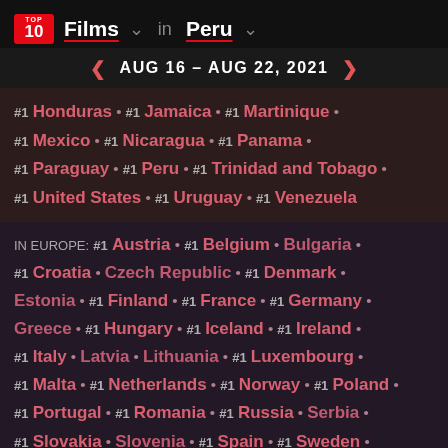TOP 10 Films in Peru — AUG 16 - AUG 22, 2021
#1 Honduras #1 Jamaica #1 Martinique #1 Mexico #1 Nicaragua #1 Panama #1 Paraguay #1 Peru #1 Trinidad and Tobago #1 United States #1 Uruguay #1 Venezuela
IN EUROPE: #1 Austria #1 Belgium Bulgaria #1 Croatia Czech Republic #1 Denmark Estonia #1 Finland #1 France #1 Germany Greece #1 Hungary #1 Iceland #1 Ireland #1 Italy Latvia Lithuania #1 Luxembourg #1 Malta #1 Netherlands #1 Norway #1 Poland #1 Portugal #1 Romania #1 Russia Serbia #1 Slovakia Slovenia #1 Spain #1 Sweden #1 Switzerland #1 Ukraine #1 United Kingdom